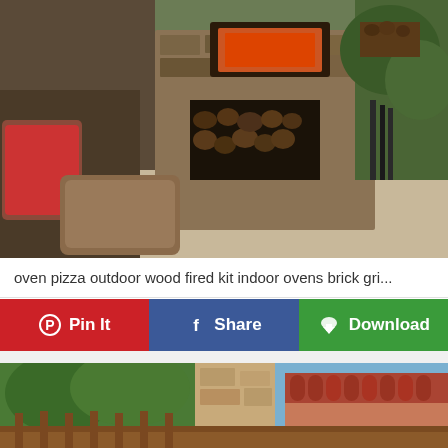[Figure (photo): Outdoor stone fireplace with wood storage below and pizza oven above, with patio seating including red cushioned chairs and a wicker ottoman, surrounded by trees and greenery]
oven pizza outdoor wood fired kit indoor ovens brick gri...
[Figure (infographic): Action buttons row: Pin It (red/Pinterest), Share (blue/Facebook), Download (green)]
[Figure (photo): Outdoor stone or brick structure with trees and red tile roof visible in background, wooden fence]